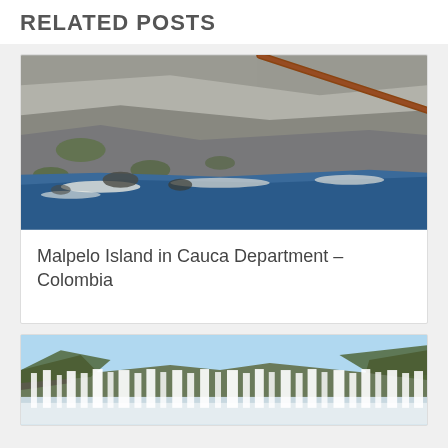RELATED POSTS
[Figure (photo): Rocky coastal cliff with blue ocean water and a diagonal orange/brown line (pipe or rail) across the upper right portion of the image. Malpelo Island, Colombia.]
Malpelo Island in Cauca Department – Colombia
[Figure (photo): Wide waterfall panorama under a blue sky with green vegetation on the sides. Large cascading waterfalls spread across the width of the image.]